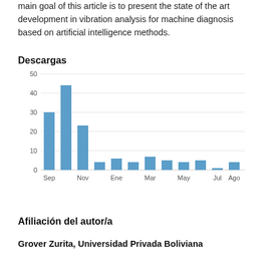main goal of this article is to present the state of the art development in vibration analysis for machine diagnosis based on artificial intelligence methods.
Descargas
[Figure (bar-chart): Descargas]
Afiliación del autor/a
Grover Zurita, Universidad Privada Boliviana